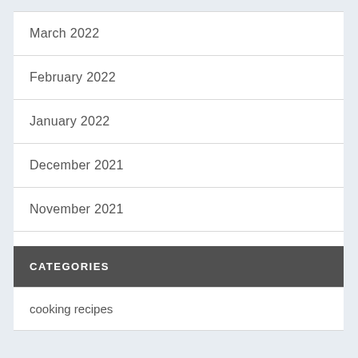March 2022
February 2022
January 2022
December 2021
November 2021
October 2021
CATEGORIES
cooking recipes